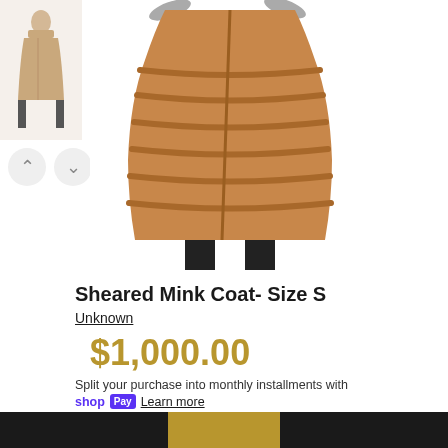[Figure (photo): Small thumbnail of a full-length mink coat on a mannequin, shown in a sidebar navigation column]
[Figure (photo): Main product image: sheared mink coat in brown/caramel color shown on a mannequin, front view, cropped at top]
Sheared Mink Coat- Size S
Unknown
$1,000.00
Split your purchase into monthly installments with
shop Pay Learn more
ADD TO CART
MAKE AN OFFER
ADD TO WISHLIST